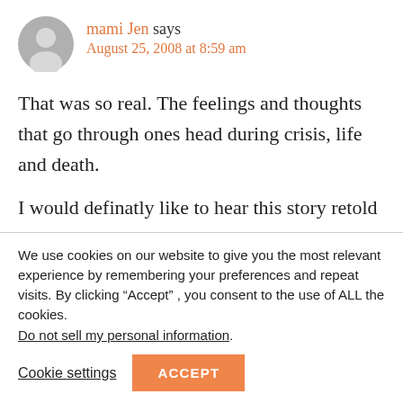mami Jen says
August 25, 2008 at 8:59 am
That was so real. The feelings and thoughts that go through ones head during crisis, life and death.
I would definatly like to hear this story retold
We use cookies on our website to give you the most relevant experience by remembering your preferences and repeat visits. By clicking “Accept” , you consent to the use of ALL the cookies.
Do not sell my personal information.
Cookie settings
ACCEPT